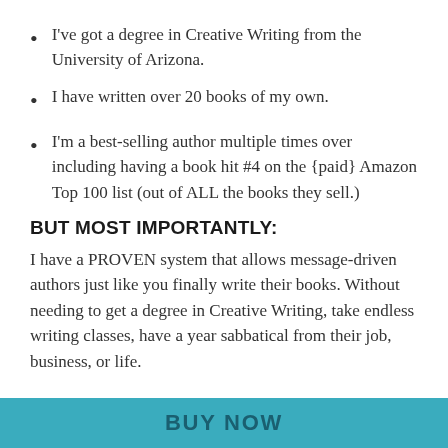I've got a degree in Creative Writing from the University of Arizona.
I have written over 20 books of my own.
I'm a best-selling author multiple times over including having a book hit #4 on the {paid} Amazon Top 100 list (out of ALL the books they sell.)
BUT MOST IMPORTANTLY:
I have a PROVEN system that allows message-driven authors just like you finally write their books. Without needing to get a degree in Creative Writing, take endless writing classes, have a year sabbatical from their job, business, or life.
BUY NOW